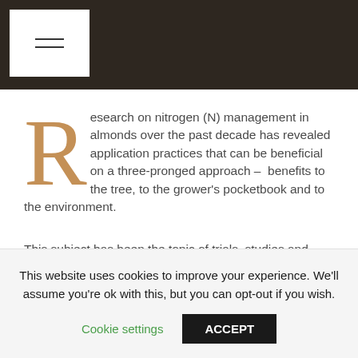≡
Research on nitrogen (N) management in almonds over the past decade has revealed application practices that can be beneficial on a three-pronged approach – benefits to the tree, to the grower's pocketbook and to the environment.
This subject has been the topic of trials, studies and presentations by the industry's top authority, Patrick
This website uses cookies to improve your experience. We'll assume you're ok with this, but you can opt-out if you wish.
Cookie settings
ACCEPT